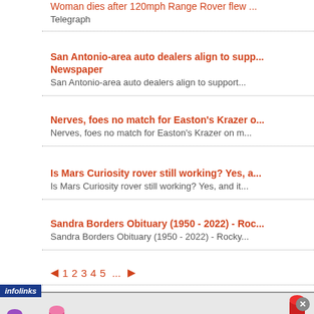Woman dies after 120mph Range Rover flew ... - Telegraph
San Antonio-area auto dealers align to supp... Newspaper
San Antonio-area auto dealers align to support...
Nerves, foes no match for Easton's Krazer o...
Nerves, foes no match for Easton's Krazer on m...
Is Mars Curiosity rover still working? Yes, a...
Is Mars Curiosity rover still working? Yes, and it...
Sandra Borders Obituary (1950 - 2022) - Roc...
Sandra Borders Obituary (1950 - 2022) - Rocky...
◄ 1 2 3 4 5 ... ►
[Figure (screenshot): infolinks ad banner with MAC cosmetics lipstick advertisement showing SHOP NOW button]